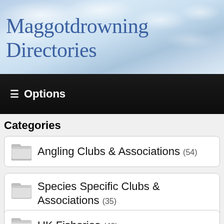Maggotdrowning Directories
≡ Options
Categories
Angling Clubs & Associations (54)
Species Specific Clubs & Associations (35)
Tackle Shops (8)
UK Fisheries (42)